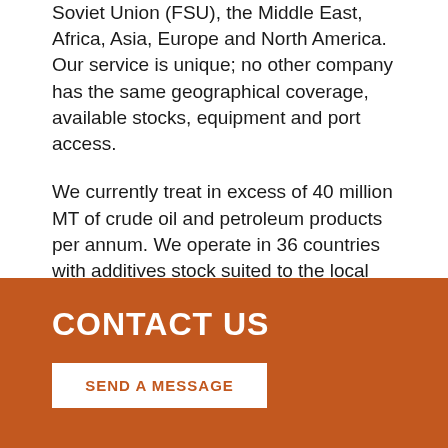Soviet Union (FSU), the Middle East, Africa, Asia, Europe and North America. Our service is unique; no other company has the same geographical coverage, available stocks, equipment and port access.
We currently treat in excess of 40 million MT of crude oil and petroleum products per annum. We operate in 36 countries with additives stock suited to the local market requirements.
Find out how fuels treatment services from SGS Laroute can support your operations.
CONTACT US
SEND A MESSAGE